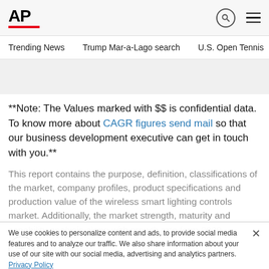AP
Trending News   Trump Mar-a-Lago search   U.S. Open Tennis
**Note: The Values marked with $$ is confidential data. To know more about CAGR figures send mail so that our business development executive can get in touch with you.**
This report contains the purpose, definition, classifications of the market, company profiles, product specifications and production value of the wireless smart lighting controls market. Additionally, the market strength, maturity and capability analysis along with growth rate form 2020-
We use cookies to personalize content and ads, to provide social media features and to analyze our traffic. We also share information about your use of our site with our social media, advertising and analytics partners. Privacy Policy
Cookies Settings   Accept All Cookies